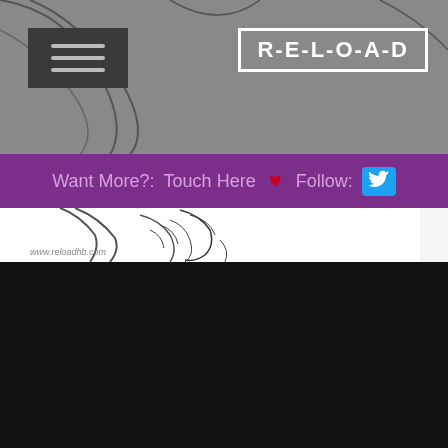[Figure (illustration): Manga/comic style line art webpage screenshot showing two panels: top portion with gray-toned figure drawing and menu button, with R-E-L-O-A-D brand badge top right. Bottom left panel shows a hand detail, bottom right panel shows a close-up face with open mouth. RELOAD logo watermark bottom left with www.reloadhb.com.]
Want More?: Touch Here ❤ Follow: 🐦
R-E-L-O-A-D